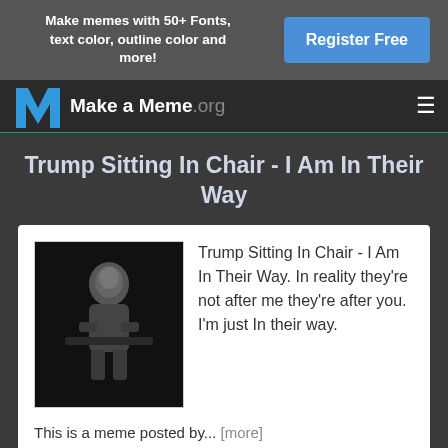Make memes with 50+ Fonts, text color, outline color and more!
Register Free
Make a Meme.org
Trump Sitting In Chair - I Am In Their Way
[Figure (photo): Black and white photo of a man in a dark suit sitting in a chair]
Trump Sitting In Chair - I Am In Their Way. In reality they're not after me they're after you. I'm just In their way.
This is a meme posted by... [more]